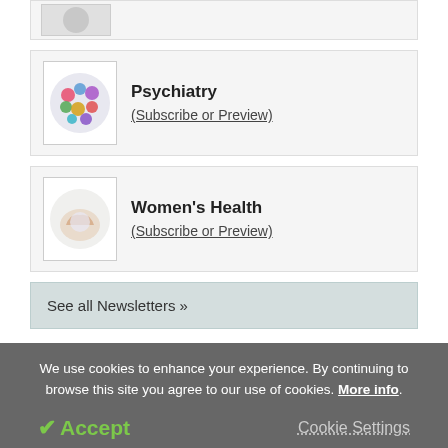[Figure (photo): Partial view of a circular image at the top of the page (cropped)]
Psychiatry (Subscribe or Preview)
[Figure (photo): Circular image of colorful pills/capsules for Psychiatry section]
Women's Health (Subscribe or Preview)
[Figure (photo): Circular image of hands forming a heart shape over a globe for Women's Health section]
See all Newsletters »
We use cookies to enhance your experience. By continuing to browse this site you agree to our use of cookies. More info.
✔ Accept
Cookie Settings